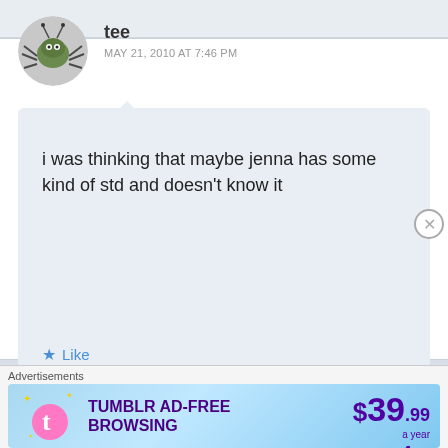tee
MAY 21, 2010 AT 7:46 PM
i was thinking that maybe jenna has some kind of std and doesn't know it
Like
Reply
person
MAY 21, 2010 AT 7:57 PM
Advertisements
[Figure (infographic): Tumblr Ad-Free Browsing advertisement banner showing $39.99 a year or $4.99 a month pricing]